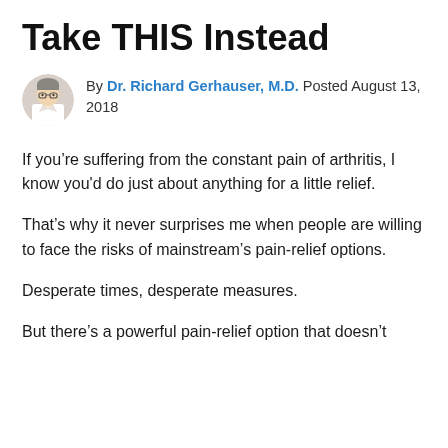Take THIS Instead
By Dr. Richard Gerhauser, M.D. Posted August 13, 2018
If you’re suffering from the constant pain of arthritis, I know you'd do just about anything for a little relief.
That’s why it never surprises me when people are willing to face the risks of mainstream’s pain-relief options.
Desperate times, desperate measures.
But there’s a powerful pain-relief option that doesn’t come with the risks of those effects...